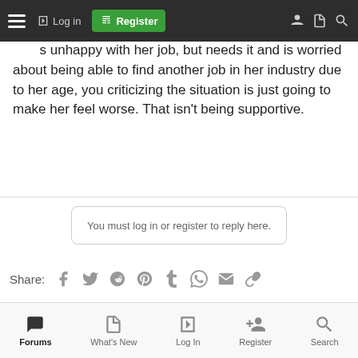Navigation bar with hamburger menu, Log in, Register, and search icons
(despite all of the downsides), you criticizing it must be annoying and make her feel like you don't support her. She's unhappy with her job, but needs it and is worried about being able to find another job in her industry due to her age, you criticizing the situation is just going to make her feel worse. That isn't being supportive.
You must log in or register to reply here.
Share:
[Figure (other): Two advertisement banners for a dating/social site, each with logo and 'Sign up for FREE' text]
Forums | What's New | Log In | Register | Search